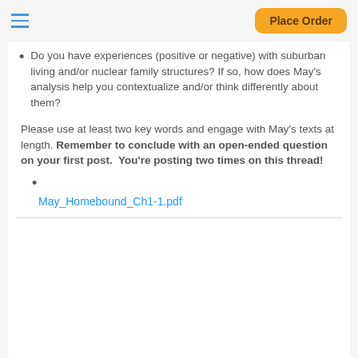Place Order
Do you have experiences (positive or negative) with suburban living and/or nuclear family structures?  If so, how does May's analysis help you contextualize and/or think differently about them?
Please use at least two key words and engage with May's texts at length. Remember to conclude with an open-ended question on your first post.  You're posting two times on this thread!
May_Homebound_Ch1-1.pdf